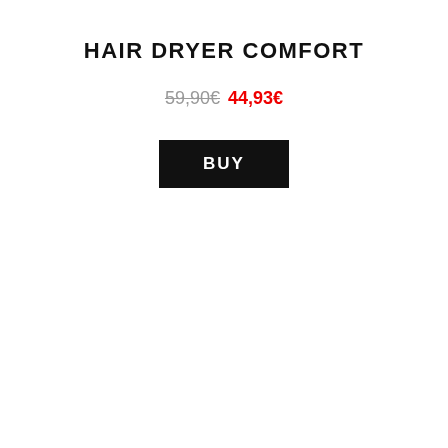HAIR DRYER COMFORT
59,90€  44,93€
BUY
[Figure (photo): Black Leggero hair dryer with concentration nozzle on the left, silver accent strip on top, blue and red buttons on handle, shown against white background. Red circular badge with '-25%' discount label on the right side.]